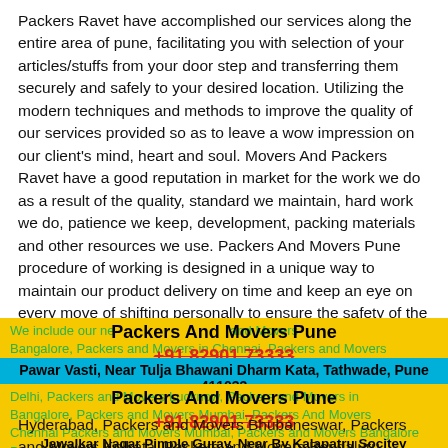Packers Ravet have accomplished our services along the entire area of pune, facilitating you with selection of your articles/stuffs from your door step and transferring them securely and safely to your desired location. Utilizing the modern techniques and methods to improve the quality of our services provided so as to leave a wow impression on our client's mind, heart and soul. Movers And Packers Ravet have a good reputation in market for the work we do as a result of the quality, standard we maintain, hard work we do, patience we keep, development, packing materials and other resources we use. Packers And Movers Pune procedure of working is designed in a unique way to maintain our product delivery on time and keep an eye on every move of shifting personally to ensure the safety of the goods. Movers And Packers Ravet Pune individual service men have been allotted a particular task and are responsible for it, for the betterment and convenience of our client.
We include our ne Packers And Movers Pune and Movers Bangalore, Packers and Movers in Chennai, Packers and Movers +91 82901 73333
Pawar Vasti, Near Tulja Bhawani Dharm Kata, Tathwade, Pune 411033
Delhi, Packers and Movers Lucknow, Packers and Movers in Bangalore, Packers and Movers Mumbai, Packers And Movers Chennai Packers and Movers Mumbai, Packers and Movers Bangalore Packers And Movers Pune +91 82901 73333
Jawalkar Nagar Pimple Gurav, Near By Kalapatru Socitey
Hyderabad, Packers and Movers Bhubaneswar, Packers and Movers Kolkata, Packers and Movers Bengaluru, Packers and Movers Pune